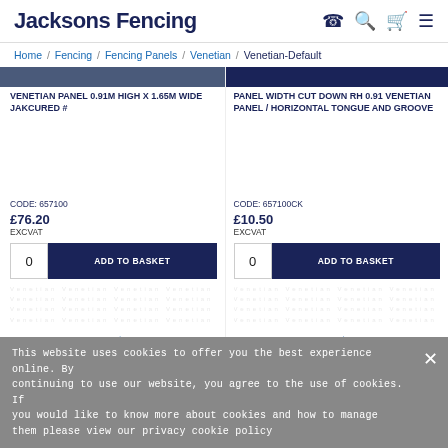Jacksons Fencing
Home / Fencing / Fencing Panels / Venetian / Venetian-Default
VENETIAN PANEL 0.91M HIGH X 1.65M WIDE JAKCURED #
PANEL WIDTH CUT DOWN RH 0.91 VENETIAN PANEL / HORIZONTAL TONGUE AND GROOVE
CODE: 657100
£76.20
EXCVAT
CODE: 657100CK
£10.50
EXCVAT
This website uses cookies to offer you the best experience online. By continuing to use our website, you agree to the use of cookies. If you would like to know more about cookies and how to manage them please view our privacy cookie policy